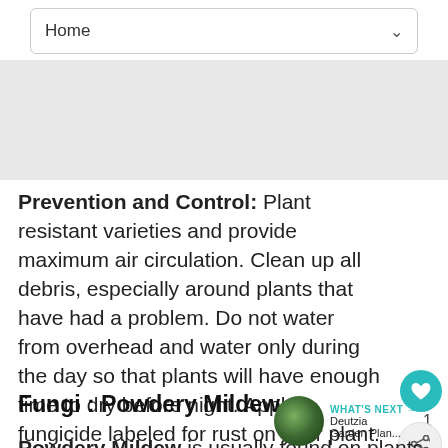[Figure (screenshot): Navigation bar with 'Home' label and dropdown chevron]
Prevention and Control: Plant resistant varieties and provide maximum air circulation. Clean up all debris, especially around plants that have had a problem. Do not water from overhead and water only during the day so that plants will have enough time to dry before night. Apply a fungicide labeled for rust on your plant.
Fungi : Powdery Mildew
Powdery Mildew is usually found on plants that do not have enough air circulation or